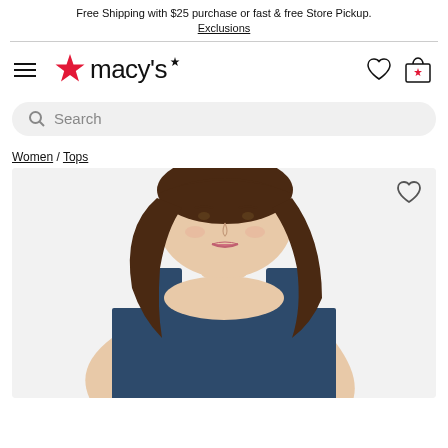Free Shipping with $25 purchase or fast & free Store Pickup. Exclusions
[Figure (logo): Macy's logo with red star and text 'macy's', hamburger menu icon, heart icon, and bag icon]
Search
Women / Tops
[Figure (photo): Woman wearing a navy blue sleeveless tank top, brunette hair, white/light background]